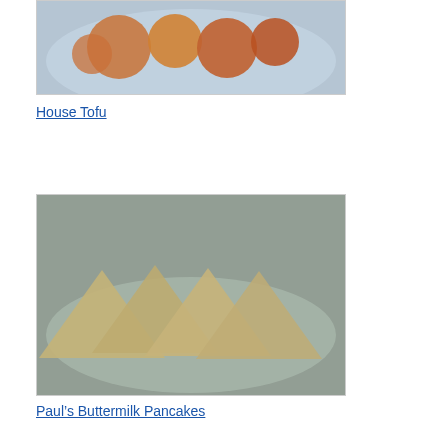[Figure (photo): Photo of House Tofu dish in a blue bowl, partially visible at top]
House Tofu
[Figure (photo): Photo of Paul's Buttermilk Pancakes on a plate]
Paul's Buttermilk Pancakes
[Figure (photo): Photo of a pancake cooking on a black griddle for Pecan-Coated Ice Cream Balls]
Pecan-Coated Ice Cream Balls
Samosa Quesadillas and Creamy Mango Salad Dressing
Spicy Kale and Corn
[Figure (photo): Red and white patterned image on right column, partially cropped]
Las Ma one of you (He ask wha